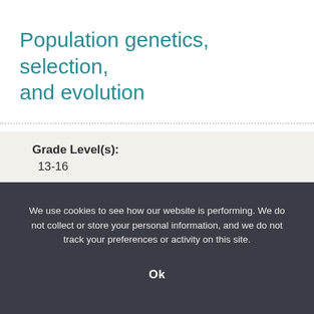Population genetics, selection, and evolution
Grade Level(s):
13-16
Source:
Howard Hughes Medical Institute
We use cookies to see how our website is performing. We do not collect or store your personal information, and we do not track your preferences or activity on this site.
Ok